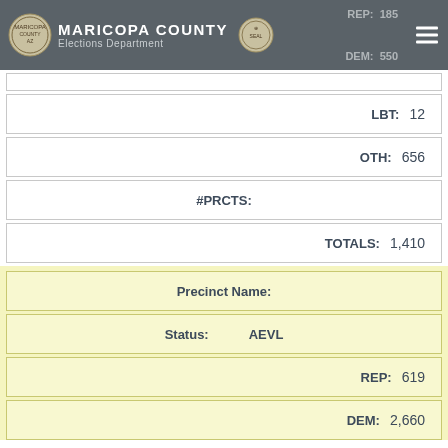MARICOPA COUNTY Elections Department
REP: 185
DEM: 550
| LBT: | 12 |
| OTH: | 656 |
| #PRCTS: |  |
| TOTALS: | 1,410 |
| Precinct Name: |  |
| Status: | AEVL |
| REP: | 619 |
| DEM: | 2,660 |